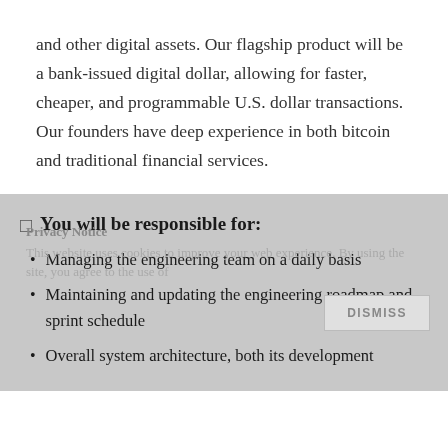and other digital assets. Our flagship product will be a bank-issued digital dollar, allowing for faster, cheaper, and programmable U.S. dollar transactions. Our founders have deep experience in both bitcoin and traditional financial services.
You will be responsible for:
Managing the engineering team on a daily basis
Maintaining and updating the engineering roadmap and sprint schedule
Overall system architecture, both its development